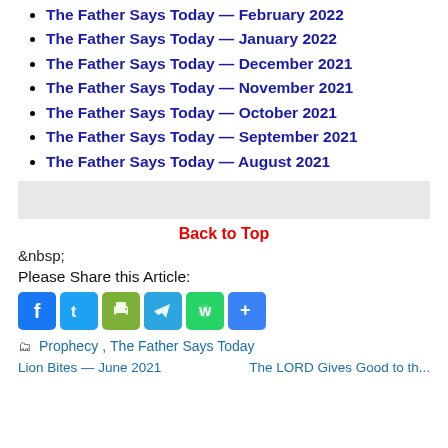The Father Says Today — February 2022
The Father Says Today — January 2022
The Father Says Today — December 2021
The Father Says Today — November 2021
The Father Says Today — October 2021
The Father Says Today — September 2021
The Father Says Today — August 2021
Back to Top
&nbsp;
Please Share this Article:
[Figure (other): Social share icons: Facebook, Twitter, Print, Telegram, WhatsApp, More]
Prophecy, The Father Says Today
Lion Bites — June 2021 | The LORD Gives Good to the...